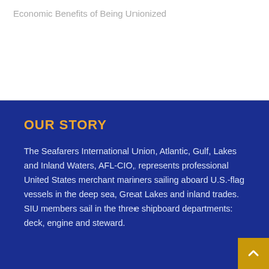Economic Benefits of Being Unionized
OUR STORY
The Seafarers International Union, Atlantic, Gulf, Lakes and Inland Waters, AFL-CIO, represents professional United States merchant mariners sailing aboard U.S.-flag vessels in the deep sea, Great Lakes and inland trades. SIU members sail in the three shipboard departments: deck, engine and steward.